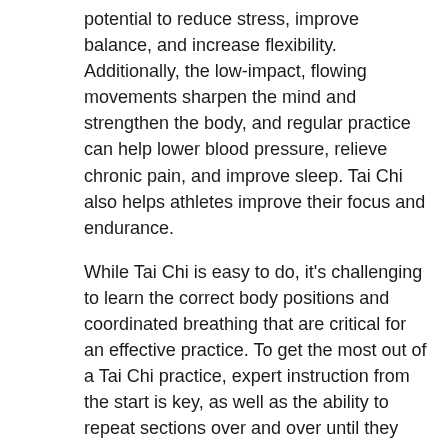potential to reduce stress, improve balance, and increase flexibility. Additionally, the low-impact, flowing movements sharpen the mind and strengthen the body, and regular practice can help lower blood pressure, relieve chronic pain, and improve sleep. Tai Chi also helps athletes improve their focus and endurance.
While Tai Chi is easy to do, it's challenging to learn the correct body positions and coordinated breathing that are critical for an effective practice. To get the most out of a Tai Chi practice, expert instruction from the start is key, as well as the ability to repeat sections over and over until they are second nature.
To help with the ease of learning the movements, the DVD has a continuous loop option to easily repeat sections, and an optional mirrored instruction on a split screen to see what the move looks like from both sides.
With more than 40 gold medals in worldwide martial arts competitions, Tiffany is a champion fighter in her own right and learned this 60-movement Yang-form practice from her father, Tai Chi Chuan Grandmaster and Chinese boxing legend William C.C. Chen. Tiffany also co-created Acacia's The Kung Fu Kickboxing Workout DVD and teaches students of all levels in her family's renowned New York school.